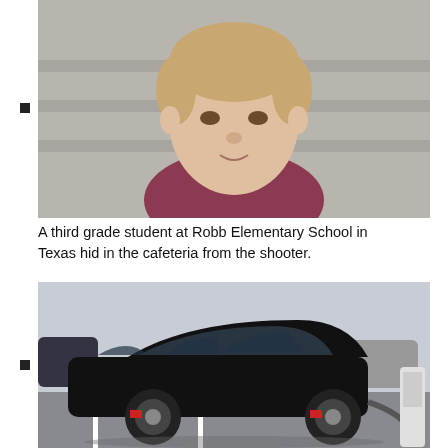[Figure (photo): Close-up photo of a young boy (third grade student) with short brown hair wearing a dark pink/maroon shirt, photographed outdoors against concrete steps background.]
A third grade student at Robb Elementary School in Texas hid in the cafeteria from the shooter.
[Figure (photo): Photo of a black Tesla Model S electric car plugged into a charging station in a parking lot filled with other cars.]